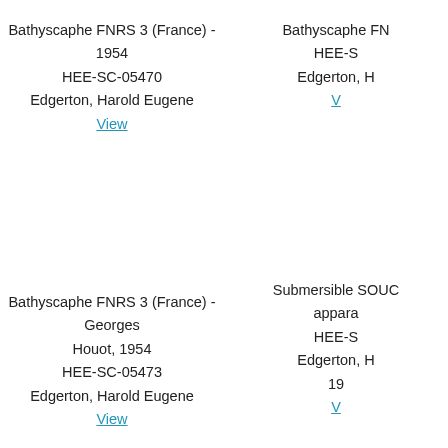Bathyscaphe FNRS 3 (France) - 1954
HEE-SC-05470
Edgerton, Harold Eugene
View
Bathyscaphe FN...
HEE-S...
Edgerton, H...
View
Bathyscaphe FNRS 3 (France) - Georges Houot, 1954
HEE-SC-05473
Edgerton, Harold Eugene
View
Submersible SOUC... appara...
HEE-S...
Edgerton, H...
19...
View